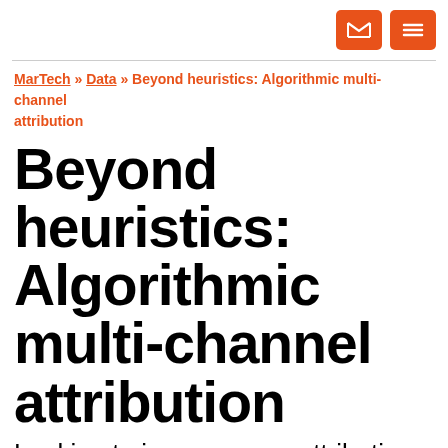[email icon] [menu icon]
MarTech » Data » Beyond heuristics: Algorithmic multi-channel attribution
Beyond heuristics: Algorithmic multi-channel attribution
Looking to improve your attribution modeling for better insights into your analytics? Columnist David Fath will